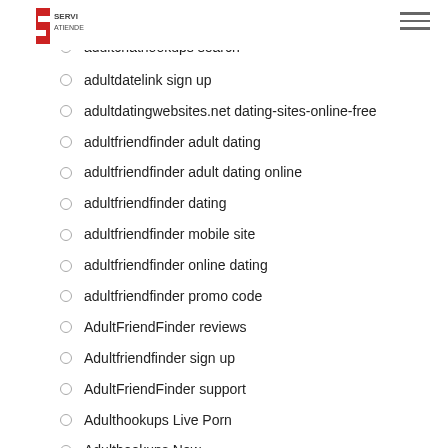SERVI ATIENDE
Adult Hub review
adultchathookups search
adultdatelink sign up
adultdatingwebsites.net dating-sites-online-free
adultfriendfinder adult dating
adultfriendfinder adult dating online
adultfriendfinder dating
adultfriendfinder mobile site
adultfriendfinder online dating
adultfriendfinder promo code
AdultFriendFinder reviews
Adultfriendfinder sign up
AdultFriendFinder support
Adulthookups Live Porn
Adulthookups New
Adulthookups Webcam Chat
Adulthookups Webcams
adultspace reddit